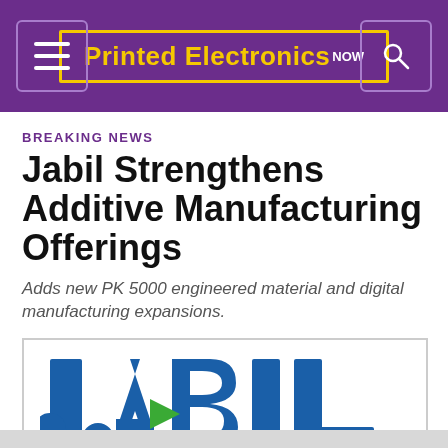Printed Electronics NOW
BREAKING NEWS
Jabil Strengthens Additive Manufacturing Offerings
Adds new PK 5000 engineered material and digital manufacturing expansions.
[Figure (logo): Jabil company logo — bold blue letters spelling JABIL with a green diagonal arrow/swoosh between the A and B]